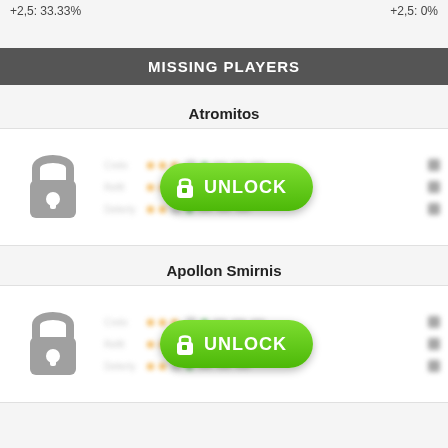+2,5: 33.33%    +2,5: 0%
MISSING PLAYERS
Atromitos
[Figure (screenshot): Locked player row for Atromitos with a grey padlock icon on the left, blurred player info (Crelo, Refit, Delerty rows with orange/green dots and stat bars), and a green UNLOCK button overlay.]
Apollon Smirnis
[Figure (screenshot): Locked player row for Apollon Smirnis with a grey padlock icon on the left, blurred player info rows with orange/green dots and stat bars, and a green UNLOCK button overlay.]